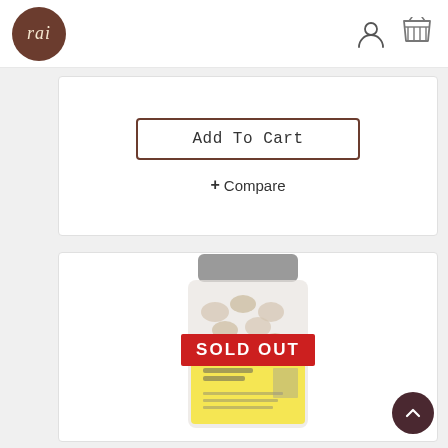[Figure (logo): Rai brand logo — circular brown badge with italic text 'rai' in cream color]
Add To Cart
+ Compare
[Figure (photo): A jar of nuts/cashews with a yellow label and a red 'SOLD OUT' banner overlaid on the product image. The jar has a gray lid and visible contents through the translucent container.]